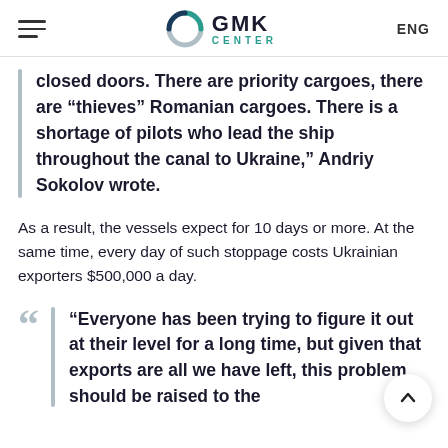GMK CENTER | ENG
closed doors. There are priority cargoes, there are “thieves” Romanian cargoes. There is a shortage of pilots who lead the ship throughout the canal to Ukraine,” Andriy Sokolov wrote.
As a result, the vessels expect for 10 days or more. At the same time, every day of such stoppage costs Ukrainian exporters $500,000 a day.
“Everyone has been trying to figure it out at their level for a long time, but given that exports are all we have left, this problem should be raised to the